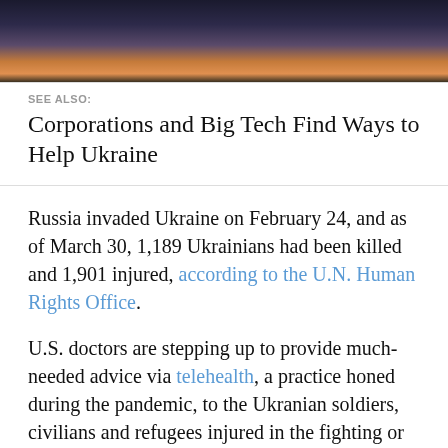[Figure (photo): Landscape photo showing a twilight/sunset sky over a dark silhouetted treeline, with orange-purple gradient sky]
SEE ALSO:
Corporations and Big Tech Find Ways to Help Ukraine
Russia invaded Ukraine on February 24, and as of March 30, 1,189 Ukrainians had been killed and 1,901 injured, according to the U.N. Human Rights Office.
U.S. doctors are stepping up to provide much-needed advice via telehealth, a practice honed during the pandemic, to the Ukranian soldiers, civilians and refugees injured in the fighting or attempting to manage chronic diseases amid the chaos.
Purdy is just one of the many physicians who have joined Aimee, a 10-year-old telehealth platform